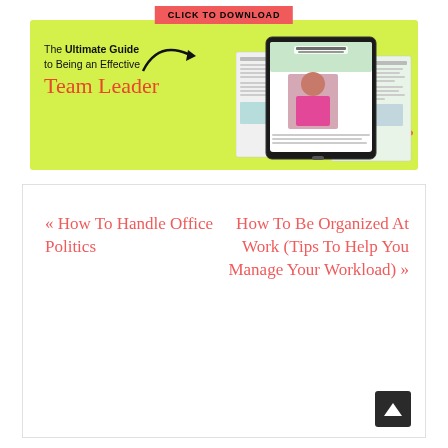[Figure (infographic): A promotional banner with a lime-green background. A red button at top reads 'CLICK TO DOWNLOAD'. An arrow points right toward document mockups and a tablet showing 'The Ultimate Guide to Being an Effective Team Leader'. Left side text: 'The Ultimate Guide to Being an Effective Team Leader' in bold/cursive. Orange decorative dots in bottom-right corner.]
« How To Handle Office Politics
How To Be Organized At Work (Tips To Help You Manage Your Workload) »